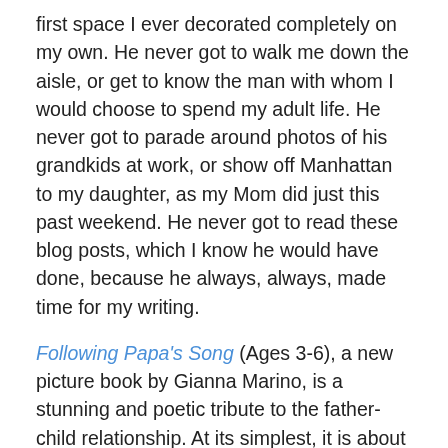first space I ever decorated completely on my own. He never got to walk me down the aisle, or get to know the man with whom I would choose to spend my adult life. He never got to parade around photos of his grandkids at work, or show off Manhattan to my daughter, as my Mom did just this past weekend. He never got to read these blog posts, which I know he would have done, because he always, always, made time for my writing.
Following Papa's Song (Ages 3-6), a new picture book by Gianna Marino, is a stunning and poetic tribute to the father-child relationship. At its simplest, it is about a young whale, who embarks on his first summer migration alongside his Papa, a journey that will take him “farther than [he] has ever gone before.” Little Blue has all sorts of questions, like whether his tail will ever allow him to swim